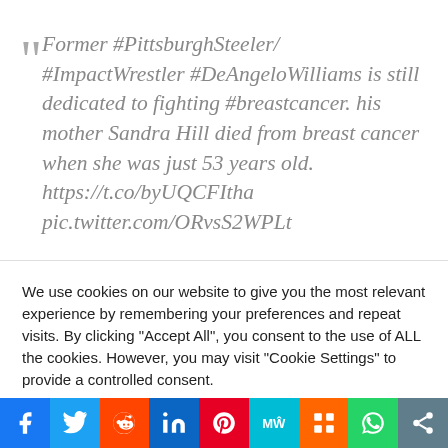Former #PittsburghSteeler/ #ImpactWrestler #DeAngeloWilliams is still dedicated to fighting #breastcancer. his mother Sandra Hill died from breast cancer when she was just 53 years old. https://t.co/byUQCFItha pic.twitter.com/ORvsS2WPLt
We use cookies on our website to give you the most relevant experience by remembering your preferences and repeat visits. By clicking "Accept All", you consent to the use of ALL the cookies. However, you may visit "Cookie Settings" to provide a controlled consent.
[Figure (other): Social media sharing bar with icons for Facebook, Twitter, Reddit, LinkedIn, Pinterest, MeWe, Mix, WhatsApp, and a share icon]